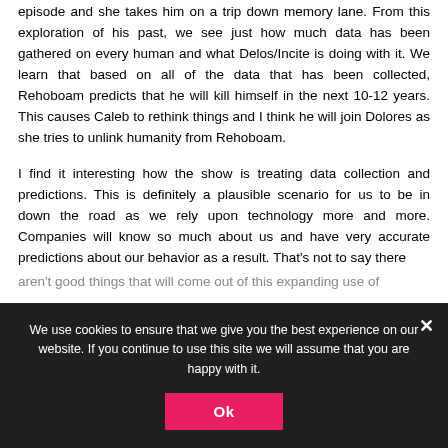episode and she takes him on a trip down memory lane. From this exploration of his past, we see just how much data has been gathered on every human and what Delos/Incite is doing with it. We learn that based on all of the data that has been collected, Rehoboam predicts that he will kill himself in the next 10-12 years. This causes Caleb to rethink things and I think he will join Dolores as she tries to unlink humanity from Rehoboam.
I find it interesting how the show is treating data collection and predictions. This is definitely a plausible scenario for us to be in down the road as we rely upon technology more and more. Companies will know so much about us and have very accurate predictions about our behavior as a result. That's not to say there aren't good things that will come out of this expanding use of
We use cookies to ensure that we give you the best experience on our website. If you continue to use this site we will assume that you are happy with it.